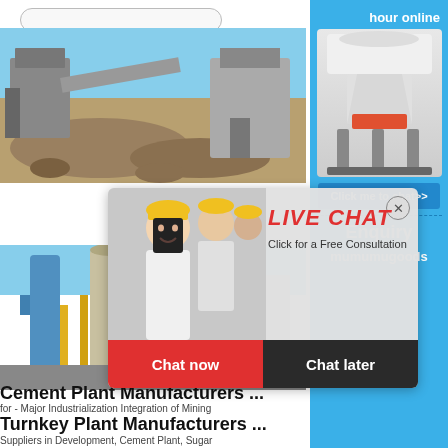[Figure (photo): Search bar UI element at top]
[Figure (photo): Industrial quarry/mining equipment photo - crushers and stone piles outdoors with blue sky]
[Figure (photo): Live chat popup overlay with woman in white shirt and colleagues in yellow hard hats, 'LIVE CHAT' heading, 'Click for a Free Consultation', Chat now and Chat later buttons]
[Figure (photo): Cement plant / industrial facility photo - large machinery, blue piping, conveyor belts]
Cement Plant Manufacturers ...
for - Major Industrialization Integration of Mining
Turnkey Plant Manufacturers ...
Suppliers in Development, Cement Plant, Sugar
[Figure (photo): Right sidebar with blue background showing 'hour online', cone crusher machine image, 'Click me to chat>>' button, 'Enquiry' text, 'mumumugoods' text]